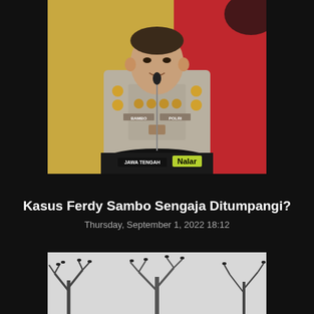[Figure (photo): Indonesian police officer in uniform with name tag BAMBO and POLRI inscription, speaking at a podium, red and gold background with Indonesian police logo]
Kasus Ferdy Sambo Sengaja Ditumpangi?
Thursday, September 1, 2022 18:12
[Figure (photo): Black and white photo of bare tree branches with birds perched on them against a light sky]